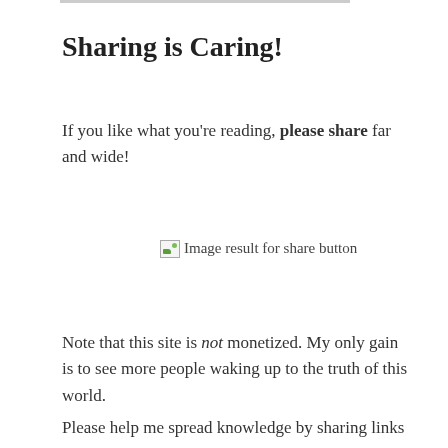Sharing is Caring!
If you like what you're reading, please share far and wide!
[Figure (illustration): Broken image placeholder with alt text 'Image result for share button']
Note that this site is not monetized. My only gain is to see more people waking up to the truth of this world.
Please help me spread knowledge by sharing links to